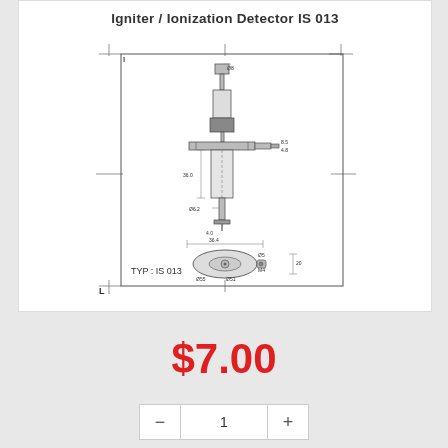Igniter / Ionization Detector IS 013
[Figure (engineering-diagram): Technical schematic drawing of Igniter/Ionization Detector IS 013 showing front elevation with dimensioned components including a shaft, flange plate, and connector body, plus a plan view showing the circular base with mounting holes. Label reads TYP : IS 013.]
$7.00
|  | 1 | + |